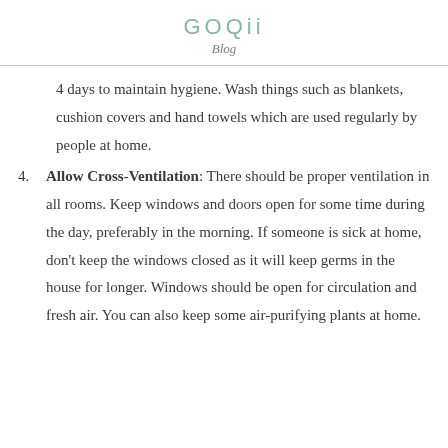GOQii
Blog
4 days to maintain hygiene. Wash things such as blankets, cushion covers and hand towels which are used regularly by people at home.
4. Allow Cross-Ventilation: There should be proper ventilation in all rooms. Keep windows and doors open for some time during the day, preferably in the morning. If someone is sick at home, don't keep the windows closed as it will keep germs in the house for longer. Windows should be open for circulation and fresh air. You can also keep some air-purifying plants at home.